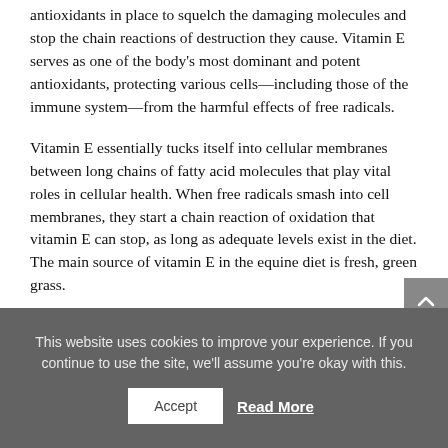antioxidants in place to squelch the damaging molecules and stop the chain reactions of destruction they cause. Vitamin E serves as one of the body's most dominant and potent antioxidants, protecting various cells—including those of the immune system—from the harmful effects of free radicals.
Vitamin E essentially tucks itself into cellular membranes between long chains of fatty acid molecules that play vital roles in cellular health. When free radicals smash into cell membranes, they start a chain reaction of oxidation that vitamin E can stop, as long as adequate levels exist in the diet. The main source of vitamin E in the equine diet is fresh, green grass.
This website uses cookies to improve your experience. If you continue to use the site, we'll assume you're okay with this.